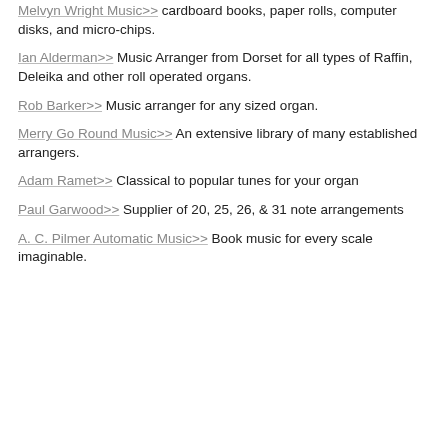Melvyn Wright Music>> cardboard books, paper rolls, computer disks, and micro-chips.
Ian Alderman>> Music Arranger from Dorset for all types of Raffin, Deleika and other roll operated organs.
Rob Barker>> Music arranger for any sized organ.
Merry Go Round Music>> An extensive library of many established arrangers.
Adam Ramet>> Classical to popular tunes for your organ
Paul Garwood>> Supplier of 20, 25, 26, & 31 note arrangements
A. C. Pilmer Automatic Music>> Book music for every scale imaginable.